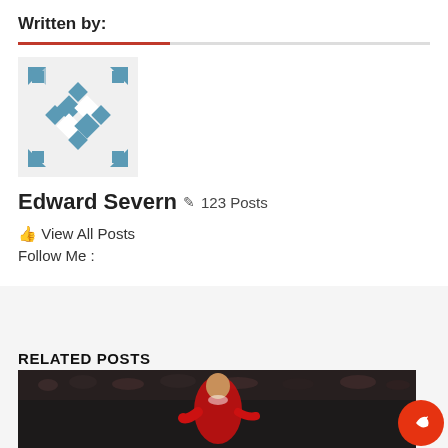Written by:
[Figure (illustration): Author avatar placeholder with blue/teal checkered Gravatar-style icon pattern on white background]
Edward Severn ✏ 123 Posts
↰ View All Posts
Follow Me :
RELATED POSTS
[Figure (photo): A football/soccer player wearing a red Manchester United jersey, playing in a match at a stadium filled with spectators]